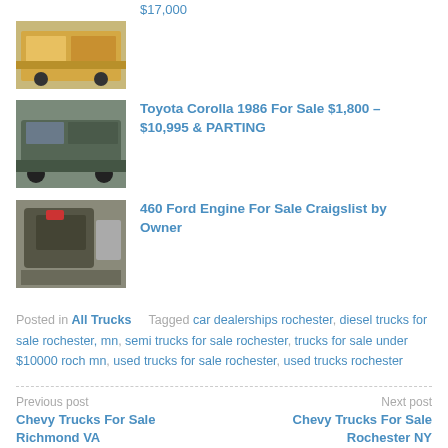$17,000
[Figure (photo): Yellow truck/SUV vehicle listing photo]
[Figure (photo): Dark colored Toyota Corolla 1986 listing photo]
Toyota Corolla 1986 For Sale $1,800 – $10,995 & PARTING
[Figure (photo): 460 Ford Engine listing photo]
460 Ford Engine For Sale Craigslist by Owner
Posted in All Trucks   Tagged car dealerships rochester, diesel trucks for sale rochester, mn, semi trucks for sale rochester, trucks for sale under $10000 roch mn, used trucks for sale rochester, used trucks rochester
Previous post
Chevy Trucks For Sale Richmond VA
Next post
Chevy Trucks For Sale Rochester NY